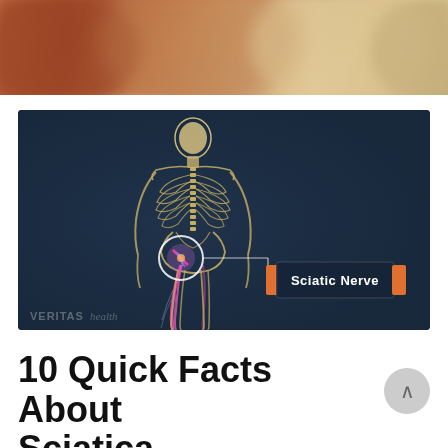[Figure (photo): Blurred background photo showing what appears to be a person or room setting, orange/brown tones, top of page]
[Figure (illustration): Medical illustration of a human skeleton viewed from behind on a dark navy background, showing the sciatic nerve highlighted in pink/magenta running down the legs, with a circular callout near the hip area and a labeled callout box reading 'Sciatic Nerve' with orange accent tabs. Veritas Health watermark at bottom left.]
10 Quick Facts About Sciatica